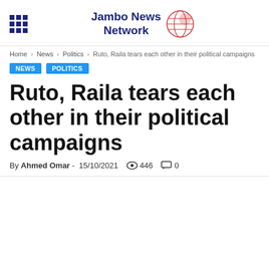Jambo News Network
Home > News > Politics > Ruto, Raila tears each other in their political campaigns
NEWS   POLITICS
Ruto, Raila tears each other in their political campaigns
By Ahmed Omar - 15/10/2021  446  0